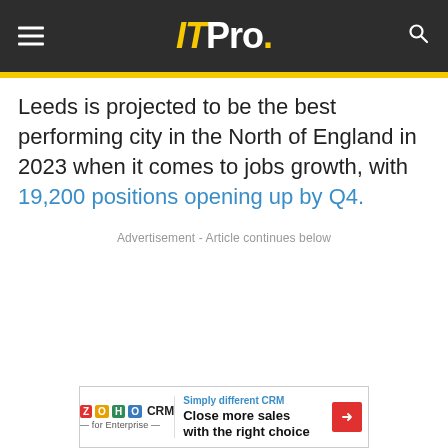IT Pro.
Leeds is projected to be the best performing city in the North of England in 2023 when it comes to jobs growth, with 19,200 positions opening up by Q4.
Advertisement - Article continues below
[Figure (screenshot): Zoho CRM advertisement banner: Simply different CRM - Close more sales with the right choice]